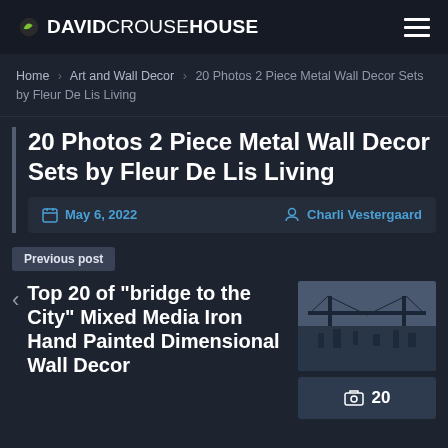DAVIDCROUSEHOUSE
Home › Art and Wall Decor › 20 Photos 2 Piece Metal Wall Decor Sets by Fleur De Lis Living
20 Photos 2 Piece Metal Wall Decor Sets by Fleur De Lis Living
May 6, 2022   Charli Vestergaard
Previous post
Top 20 of "bridge to the City" Mixed Media Iron Hand Painted Dimensional Wall Decor
[Figure (photo): Thumbnail image of bridge city mixed media iron wall decor artwork]
20